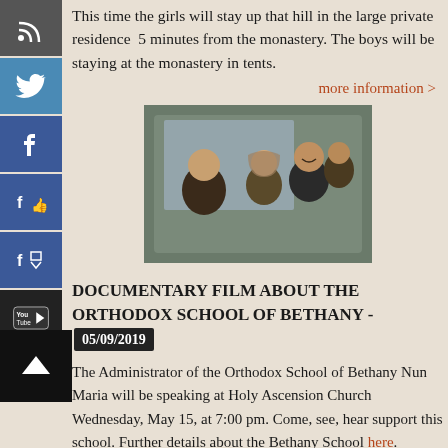This time the girls will stay up that hill in the large private residence  5 minutes from the monastery. The boys will be staying at the monastery in tents.
more information >
[Figure (photo): People sitting inside a car, smiling at the camera. A nun or woman in dark clothing is in the passenger seat.]
DOCUMENTARY FILM ABOUT THE ORTHODOX SCHOOL OF BETHANY - 05/09/2019
The Administrator of the Orthodox School of Bethany Nun Maria will be speaking at Holy Ascension Church Wednesday, May 15, at 7:00 pm. Come, see, hear support this school. Further details about the Bethany School here.